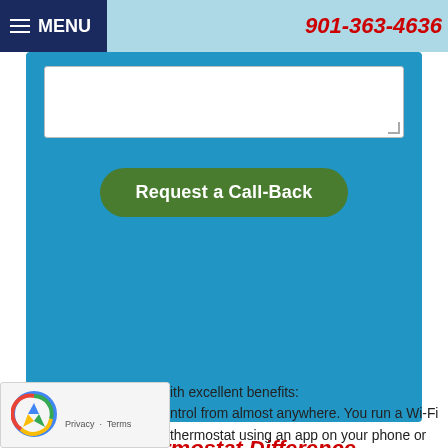MENU | 901-363-4636
[Figure (screenshot): Blue contact form area with white textarea and green 'Request a Call-Back' button]
The Wi-Fi Thermostat Difference
The standard slider-and-dial manual thermostat and the basic digital models can get the job done of providing comfort around the year. But just "getting the job done" can mean leaving money on the table and accepting less comfort than you deserve. A Wi-Fi thermostat replacement for your old unit with excellent benefits:
ntrol from almost anywhere. You run a Wi-Fi thermostat using an app on your phone or tablet, or